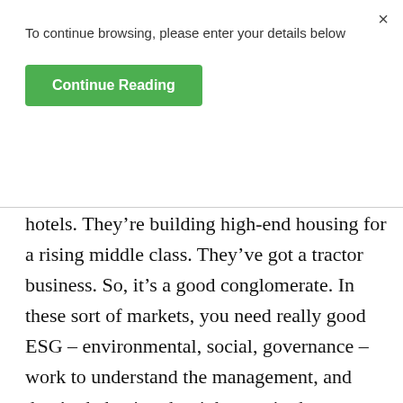To continue browsing, please enter your details below
Continue Reading
hotels. They’re building high-end housing for a rising middle class. They’ve got a tractor business. So, it’s a good conglomerate. In these sort of markets, you need really good ESG – environmental, social, governance –work to understand the management, and they’re behaving the right way in the country, because obviously political risk and corruption are big issues to look at. We spent a lot of time getting to know them very, very well. It’s the largest